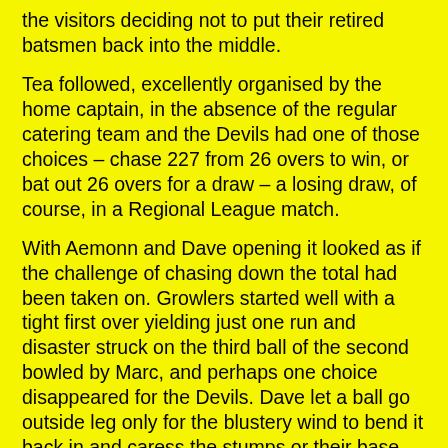the visitors deciding not to put their retired batsmen back into the middle.
Tea followed, excellently organised by the home captain, in the absence of the regular catering team and the Devils had one of those choices – chase 227 from 26 overs to win, or bat out 26 overs for a draw – a losing draw, of course, in a Regional League match.
With Aemonn and Dave opening it looked as if the challenge of chasing down the total had been taken on. Growlers started well with a tight first over yielding just one run and disaster struck on the third ball of the second bowled by Marc, and perhaps one choice disappeared for the Devils. Dave let a ball go outside leg only for the blustery wind to bend it back in and caress the stumps or their base and the home team were three for one.
David and Aemonn dug in, with David hitting the ball well but was bowled when Dan, the Growler's high-scoring opener, came on to bowl. There was then a brief flurry from the Devils